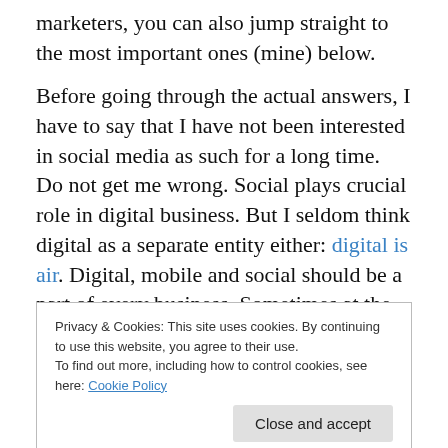marketers, you can also jump straight to the most important ones (mine) below.
Before going through the actual answers, I have to say that I have not been interested in social media as such for a long time. Do not get me wrong. Social plays crucial role in digital business. But I seldom think digital as a separate entity either: digital is air. Digital, mobile and social should be a part of every business. Sometimes at the core, sometimes playing supporting role and sometimes playing no role at all. Strategy is about deciding what to do, but
Privacy & Cookies: This site uses cookies. By continuing to use this website, you agree to their use.
To find out more, including how to control cookies, see here: Cookie Policy
Having got that off my chest, here are my most important